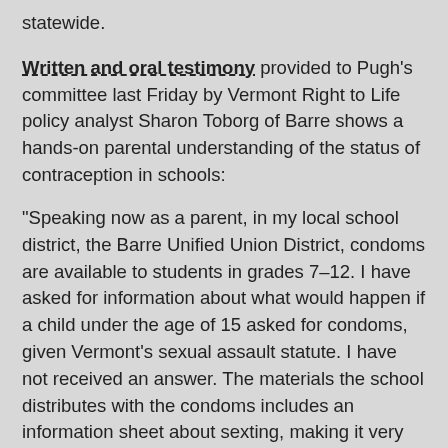statewide.
Written and oral testimony provided to Pugh’s committee last Friday by Vermont Right to Life policy analyst Sharon Toborg of Barre shows a hands-on parental understanding of the status of contraception in schools:
“Speaking now as a parent, in my local school district, the Barre Unified Union District, condoms are available to students in grades 7–12. I have asked for information about what would happen if a child under the age of 15 asked for condoms, given Vermont’s sexual assault statute. I have not received an answer. The materials the school distributes with the condoms includes an information sheet about sexting, making it very clear that any nude photo of a child under 18 could be considered child pornography, which is always illegal. However, it does not make it clear that sexual activity involving children under 15 is always against the law.